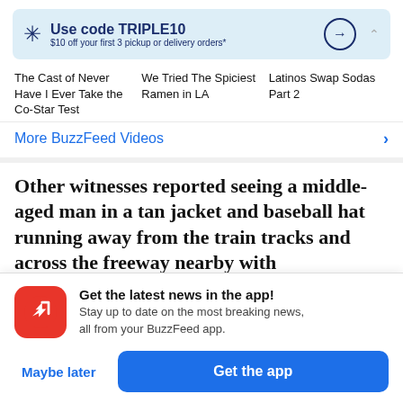[Figure (infographic): Walmart ad banner: snowflake logo, text 'Use code TRIPLE10 $10 off your first 3 pickup or delivery orders*', arrow circle button, chevron up]
The Cast of Never Have I Ever Take the Co-Star Test
We Tried The Spiciest Ramen in LA
Latinos Swap Sodas Part 2
More BuzzFeed Videos
Other witnesses reported seeing a middle-aged man in a tan jacket and baseball hat running away from the train tracks and across the freeway nearby with
[Figure (infographic): BuzzFeed app promo: red circle with trending arrow icon, headline 'Get the latest news in the app!', subtext 'Stay up to date on the most breaking news, all from your BuzzFeed app.', 'Maybe later' blue link, 'Get the app' blue button]